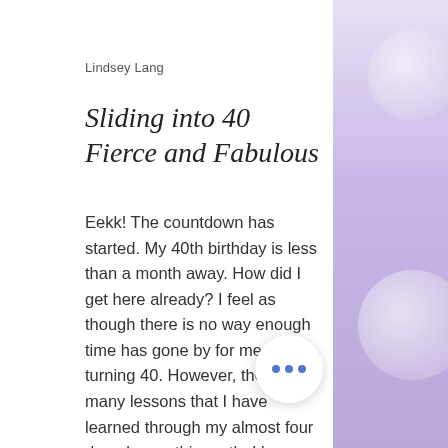Lindsey Lang
Sliding into 40 Fierce and Fabulous
Eekk! The countdown has started. My 40th birthday is less than a month away. How did I get here already? I feel as though there is no way enough time has gone by for me to be turning 40. However, there are many lessons that I have learned through my almost four decades on this earth. I have really been sitting with what I have learned over the years, and what I plan to the next decade. I thought I would share some of my ten lessons learned